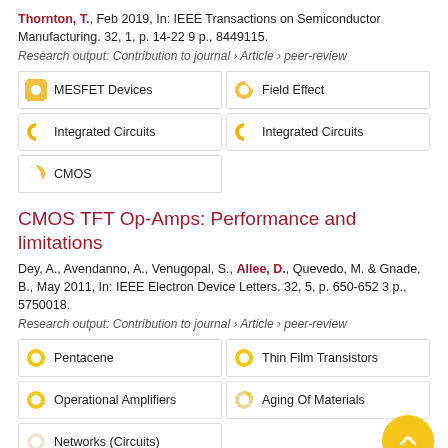Thornton, T., Feb 2019, In: IEEE Transactions on Semiconductor Manufacturing. 32, 1, p. 14-22 9 p., 8449115.
Research output: Contribution to journal › Article › peer-review
MESFET Devices
Field Effect
Integrated Circuits
Integrated Circuits
CMOS
CMOS TFT Op-Amps: Performance and limitations
Dey, A., Avendanno, A., Venugopal, S., Allee, D., Quevedo, M. & Gnade, B., May 2011, In: IEEE Electron Device Letters. 32, 5, p. 650-652 3 p., 5750018.
Research output: Contribution to journal › Article › peer-review
Pentacene
Thin Film Transistors
Operational Amplifiers
Aging Of Materials
Networks (Circuits)